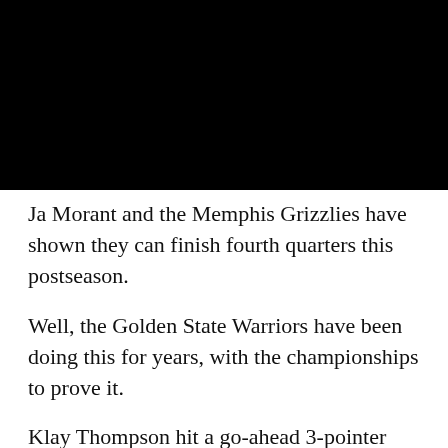[Figure (photo): Basketball game photo showing Ja Morant of the Memphis Grizzlies (white uniform) being defended by two Golden State Warriors players (blue and gold uniforms) during a game, with a crowd visible in the background.]
Ja Morant and the Memphis Grizzlies have shown they can finish fourth quarters this postseason.
Well, the Golden State Warriors have been doing this for years, with the championships to prove it.
Klay Thompson hit a go-ahead 3-pointer with 36 seconds left, and the Warriors overcame Draymond Green's first-half ejection to edge the Grizzlies 117-116 on Sunday in Game 1 of the Western Conference semifinals.
"The ...